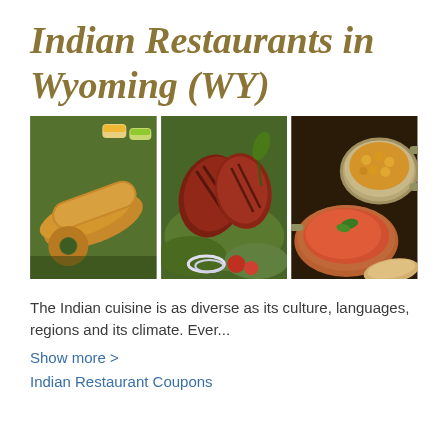Indian Restaurants in Wyoming (WY)
[Figure (photo): Three food photos side by side: (1) Indian snacks including dosa rolls and vada on a banana leaf, (2) Tandoori chicken pieces with salad and onion, (3) Indian curry dishes in metal bowls with chickpea curry and red sauce.]
The Indian cuisine is as diverse as its culture, languages, regions and its climate. Ever...
Show more >
Indian Restaurant Coupons